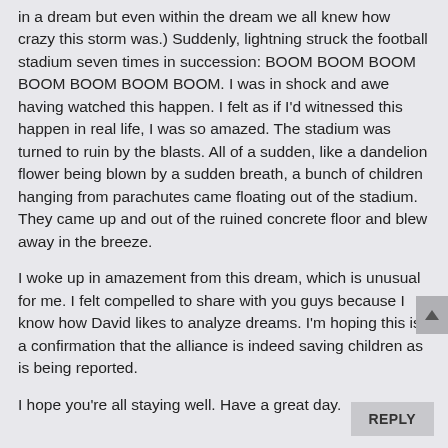in a dream but even within the dream we all knew how crazy this storm was.) Suddenly, lightning struck the football stadium seven times in succession: BOOM BOOM BOOM BOOM BOOM BOOM BOOM. I was in shock and awe having watched this happen. I felt as if I'd witnessed this happen in real life, I was so amazed. The stadium was turned to ruin by the blasts. All of a sudden, like a dandelion flower being blown by a sudden breath, a bunch of children hanging from parachutes came floating out of the stadium. They came up and out of the ruined concrete floor and blew away in the breeze.
I woke up in amazement from this dream, which is unusual for me. I felt compelled to share with you guys because I know how David likes to analyze dreams. I'm hoping this is a confirmation that the alliance is indeed saving children as is being reported.
I hope you're all staying well. Have a great day.